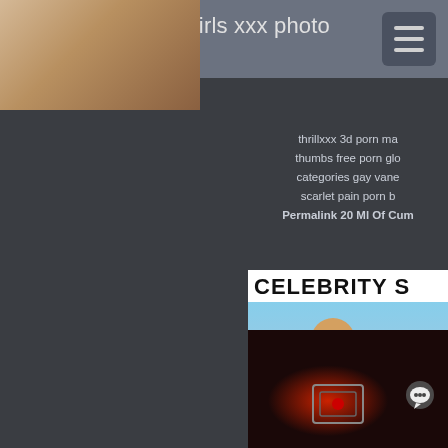Top-grade naked girls xxx photo collection
[Figure (photo): Partial photo visible in top-right corner, warm tan/brown tones]
thrillxxx 3d porn ma thumbs free porn glo categories gay vane scarlet pain porn b Permalink 20 Ml Of Cum
[Figure (photo): Celebrity S video thumbnail showing a woman with sunglasses outdoors, with a red play button overlay]
[Figure (photo): Dark image with red light/laser element and chat icon, bottom right panel]